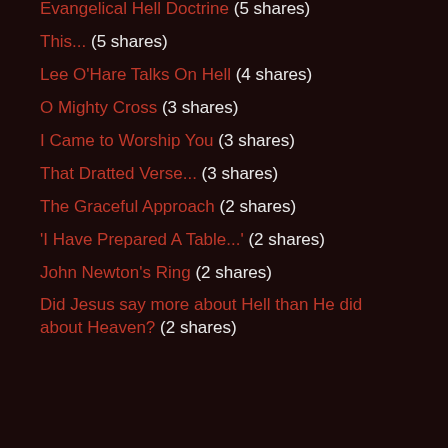Evangelical Hell Doctrine (5 shares)
This... (5 shares)
Lee O'Hare Talks On Hell (4 shares)
O Mighty Cross (3 shares)
I Came to Worship You (3 shares)
That Dratted Verse... (3 shares)
The Graceful Approach (2 shares)
'I Have Prepared A Table...' (2 shares)
John Newton's Ring (2 shares)
Did Jesus say more about Hell than He did about Heaven? (2 shares)